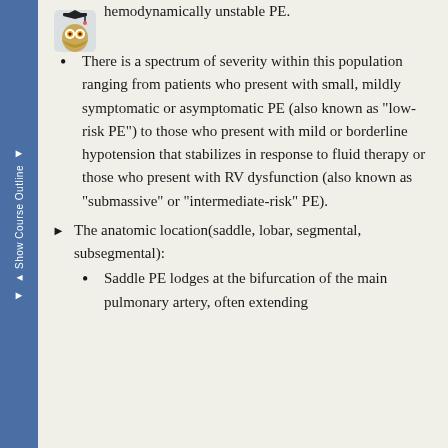hemodynamically unstable PE.
There is a spectrum of severity within this population ranging from patients who present with small, mildly symptomatic or asymptomatic PE (also known as "low-risk PE") to those who present with mild or borderline hypotension that stabilizes in response to fluid therapy or those who present with RV dysfunction (also known as "submassive" or "intermediate-risk" PE).
The anatomic location(saddle, lobar, segmental, subsegmental):
Saddle PE lodges at the bifurcation of the main pulmonary artery, often extending